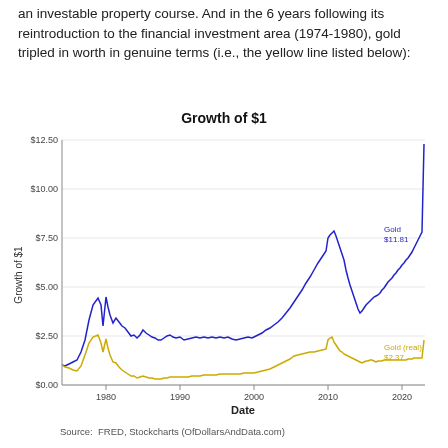an investable property course. And in the 6 years following its reintroduction to the financial investment area (1974-1980), gold tripled in worth in genuine terms (i.e., the yellow line listed below):
[Figure (line-chart): Growth of $1]
Source: FRED, Stockcharts (OfDollarsAndData.com)